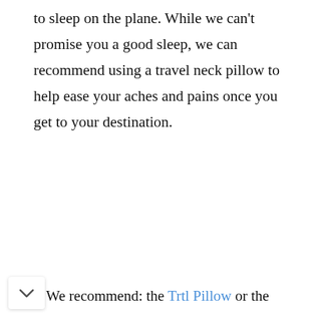to sleep on the plane. While we can't promise you a good sleep, we can recommend using a travel neck pillow to help ease your aches and pains once you get to your destination.
We recommend: the Trtl Pillow or the
This website uses cookies to help us deliver the best possible service. By using our services you agree to our use of cookies. Read our Privacy Policy.
Got it!